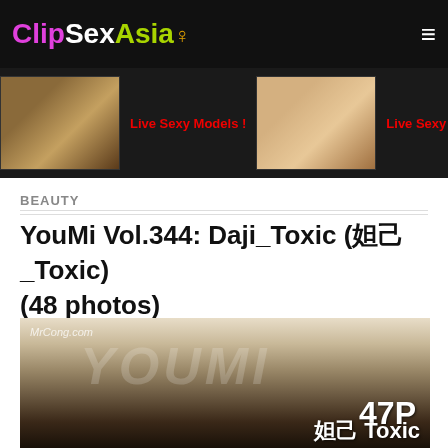ClipSexAsia
[Figure (photo): Banner strip with two adult content promotional images and red 'Live Sexy Models' text links on dark background]
BEAUTY
YouMi Vol.344: Daji_Toxic (妲己_Toxic) (48 photos)
[Figure (photo): YouMi magazine cover photo of a dark-haired Asian woman with watermarks reading MrCong.com, YOUMI, 47P, and 妲己 Toxic]